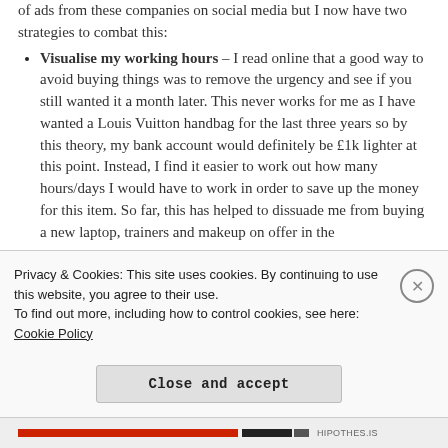of ads from these companies on social media but I now have two strategies to combat this:
Visualise my working hours – I read online that a good way to avoid buying things was to remove the urgency and see if you still wanted it a month later. This never works for me as I have wanted a Louis Vuitton handbag for the last three years so by this theory, my bank account would definitely be £1k lighter at this point. Instead, I find it easier to work out how many hours/days I would have to work in order to save up the money for this item. So far, this has helped to dissuade me from buying a new laptop, trainers and makeup on offer in the
Privacy & Cookies: This site uses cookies. By continuing to use this website, you agree to their use.
To find out more, including how to control cookies, see here: Cookie Policy
Close and accept